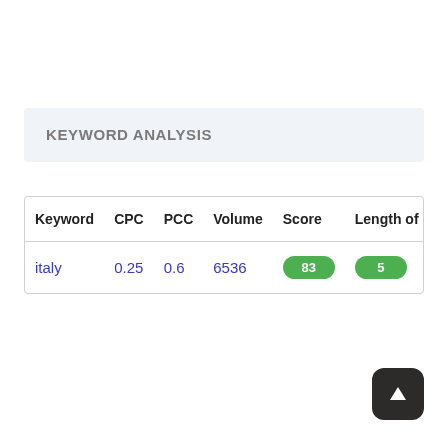KEYWORD ANALYSIS
| Keyword | CPC | PCC | Volume | Score | Length of key |
| --- | --- | --- | --- | --- | --- |
| italy | 0.25 | 0.6 | 6536 | 83 | 5 |